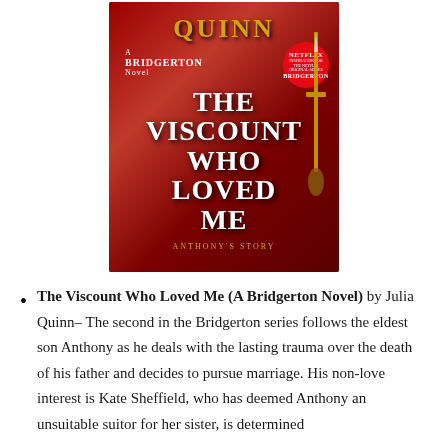[Figure (illustration): Book cover of 'The Viscount Who Loved Me (A Bridgerton Novel)' by Julia Quinn. Red background with a sword, gold title text, Netflix badge, and author name at top.]
The Viscount Who Loved Me (A Bridgerton Novel) by Julia Quinn– The second in the Bridgerton series follows the eldest son Anthony as he deals with the lasting trauma over the death of his father and decides to pursue marriage. His non-love interest is Kate Sheffield, who has deemed Anthony an unsuitable suitor for her sister, is determined